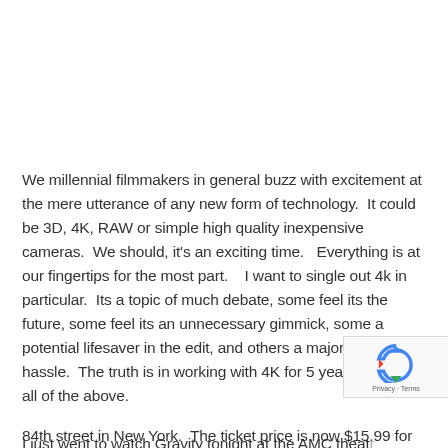We millennial filmmakers in general buzz with excitement at the mere utterance of any new form of technology.  It could be 3D, 4K, RAW or simple high quality inexpensive cameras.  We should, it's an exciting time.   Everything is at our fingertips for the most part.    I want to single out 4k in particular.  Its a topic of much debate, some feel its the future, some feel its an unnecessary gimmick, some a potential lifesaver in the edit, and others a major costly hassle.  The truth is in working with 4K for 5 years now, its all of the above.
I just went to watch Gravity tonight at the AMC theat... 84th street in New York.  The ticket price is now $15.99 for...